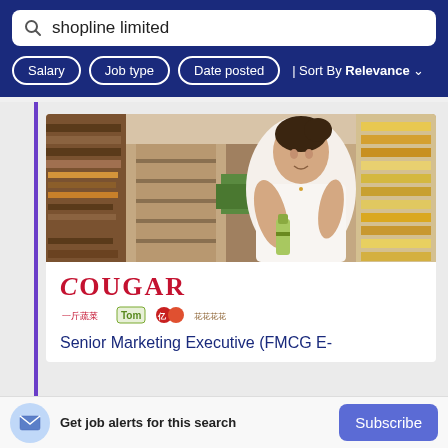shopline limited
Salary | Job type | Date posted | Sort By Relevance
[Figure (photo): Woman in a supermarket/grocery store examining a product bottle, shelves of products visible on both sides]
[Figure (logo): Cougar company logo with sub-brand logos below including Chinese character brand, Tom brand, and others]
Senior Marketing Executive (FMCG E-
Get job alerts for this search
Subscribe